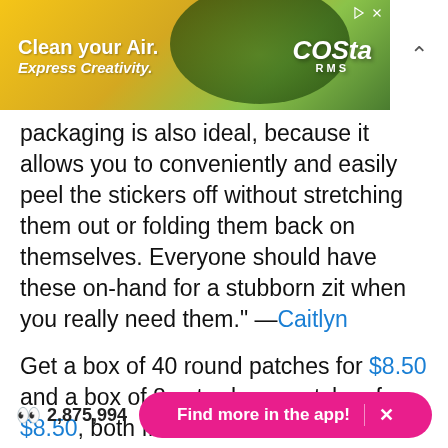[Figure (screenshot): Advertisement banner with yellow and green background. Text reads 'Clean your Air.' and 'Express Creativity.' with a Costa Farms logo on the right.]
packaging is also ideal, because it allows you to conveniently and easily peel the stickers off without stretching them out or folding them back on themselves. Everyone should have these on-hand for a stubborn zit when you really need them." —Caitlyn
Get a box of 40 round patches for $8.50 and a box of 8 extra-large patches for $8.50, both from Amazon.
To learn more, check out "These Satisfying Acne Patches Deserve A National Holiday, Change My Mind".
2,875,994  Find more in the app!  X